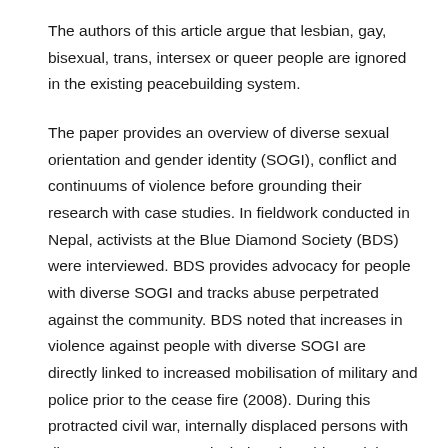The authors of this article argue that lesbian, gay, bisexual, trans, intersex or queer people are ignored in the existing peacebuilding system.
The paper provides an overview of diverse sexual orientation and gender identity (SOGI), conflict and continuums of violence before grounding their research with case studies. In fieldwork conducted in Nepal, activists at the Blue Diamond Society (BDS) were interviewed. BDS provides advocacy for people with diverse SOGI and tracks abuse perpetrated against the community. BDS noted that increases in violence against people with diverse SOGI are directly linked to increased mobilisation of military and police prior to the cease fire (2008). During this protracted civil war, internally displaced persons with diverse SOGI were particularly vulnerable to violence from police. The paper suggests that conflict can